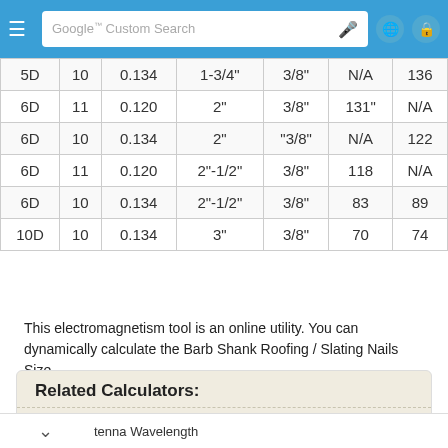[Figure (screenshot): Google Custom Search navigation bar with hamburger menu, search input, microphone icon, globe icon, and lock icon]
| 5D | 10 | 0.134 | 1-3/4" | 3/8" | N/A | 136 |
| 6D | 11 | 0.120 | 2" | 3/8" | 131" | N/A |
| 6D | 10 | 0.134 | 2" | "3/8" | N/A | 122 |
| 6D | 11 | 0.120 | 2"-1/2" | 3/8" | 118 | N/A |
| 6D | 10 | 0.134 | 2"-1/2" | 3/8" | 83 | 89 |
| 10D | 10 | 0.134 | 3" | 3/8" | 70 | 74 |
This electromagnetism tool is an online utility. You can dynamically calculate the Barb Shank Roofing / Slating Nails Size.
Related Calculators:
Acoustic Impedance
Antenna Gain
Antenna Polarization
tenna Wavelength